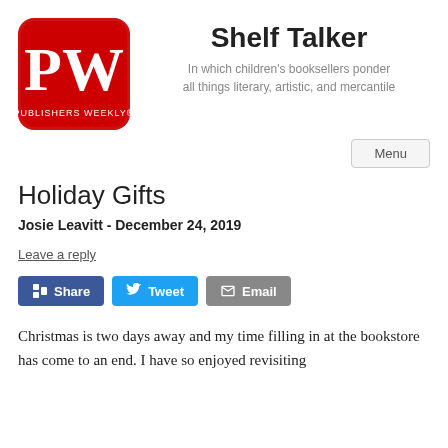[Figure (logo): Publishers Weekly red rounded square logo with white PW letters]
Shelf Talker
In which children's booksellers ponder all things literary, artistic, and mercantile
Menu
Holiday Gifts
Josie Leavitt - December 24, 2019
Leave a reply
Share Tweet Email
Christmas is two days away and my time filling in at the bookstore has come to an end. I have so enjoyed revisiting